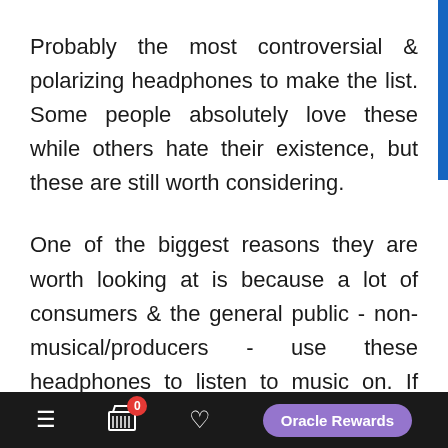Probably the most controversial & polarizing headphones to make the list. Some people absolutely love these while others hate their existence, but these are still worth considering.
One of the biggest reasons they are worth looking at is because a lot of consumers & the general public - non-musical/producers - use these headphones to listen to music on. If there's a good chance the end result of your song will be heard on a particula